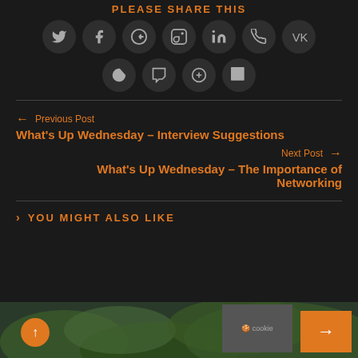PLEASE SHARE THIS
[Figure (infographic): Social sharing icon buttons: Twitter, Facebook, Google+, Pinterest, LinkedIn, Viber, VK (row 1); Reddit, Tumblr, Odnoklassniki/share, WhatsApp (row 2) — all dark circle icons]
← Previous Post
What's Up Wednesday – Interview Suggestions
Next Post →
What's Up Wednesday – The Importance of Networking
YOU MIGHT ALSO LIKE
[Figure (photo): Partial preview image of green foliage/jungle at bottom of page, with a scroll-up orange circle button, a grey cookie/text box, and an orange navigation box]